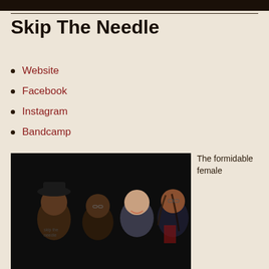Skip The Needle
Website
Facebook
Instagram
Bandcamp
[Figure (photo): Group photo of four women posing together against a dark background, wearing black t-shirts with band logos]
The formidable female